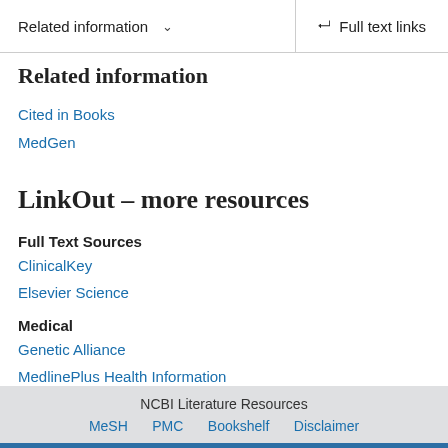Related information ∨   Full text links
Related information
Cited in Books
MedGen
LinkOut – more resources
Full Text Sources
ClinicalKey
Elsevier Science
Medical
Genetic Alliance
MedlinePlus Health Information
NCBI Literature Resources  MeSH  PMC  Bookshelf  Disclaimer